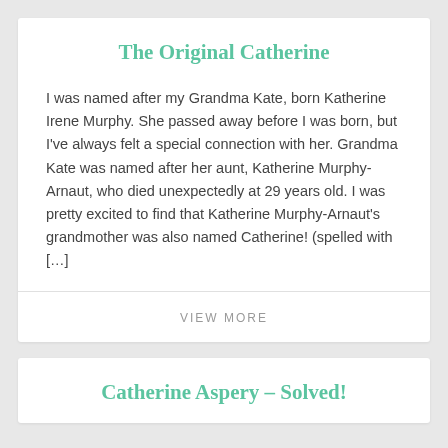The Original Catherine
I was named after my Grandma Kate, born Katherine Irene Murphy. She passed away before I was born, but I've always felt a special connection with her. Grandma Kate was named after her aunt, Katherine Murphy-Arnaut, who died unexpectedly at 29 years old. I was pretty excited to find that Katherine Murphy-Arnaut's grandmother was also named Catherine! (spelled with […]
VIEW MORE
Catherine Aspery – Solved!